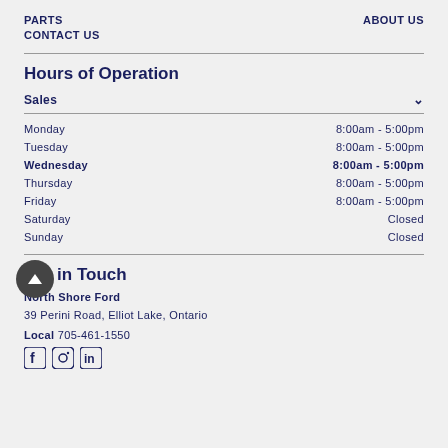PARTS   ABOUT US
CONTACT US
Hours of Operation
Sales
| Day | Hours |
| --- | --- |
| Monday | 8:00am - 5:00pm |
| Tuesday | 8:00am - 5:00pm |
| Wednesday | 8:00am - 5:00pm |
| Thursday | 8:00am - 5:00pm |
| Friday | 8:00am - 5:00pm |
| Saturday | Closed |
| Sunday | Closed |
Get in Touch
North Shore Ford
39 Perini Road, Elliot Lake, Ontario
Local  705-461-1550
[Figure (logo): Social media icons: Facebook, Instagram, LinkedIn]